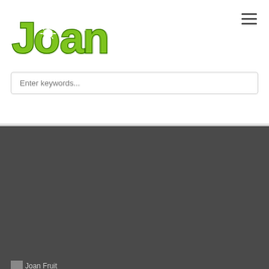[Figure (logo): Joan Fruit company logo - green stylized text with sunburst in the 'o']
[Figure (other): Hamburger menu icon (three horizontal lines)]
Enter keywords...
[Figure (other): Joan Fruit broken image placeholder]
We are Joan Fruit!
We have specialized in delivery of Fruits/ products, produced by local farms all around the country.
With modern equipment and professional production management we can proudly say that we are one of the best in business, a trusted supplier .
Navigations